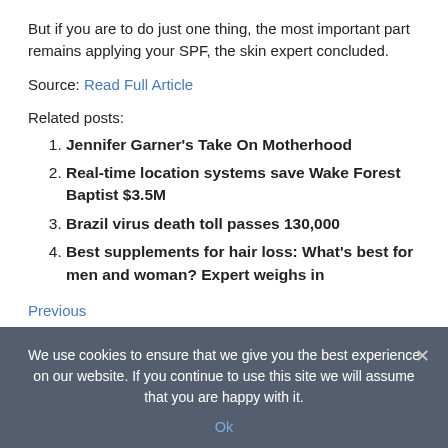But if you are to do just one thing, the most important part remains applying your SPF, the skin expert concluded.
Source: Read Full Article
Related posts:
Jennifer Garner's Take On Motherhood
Real-time location systems save Wake Forest Baptist $3.5M
Brazil virus death toll passes 130,000
Best supplements for hair loss: What's best for men and woman? Expert weighs in
Previous
We use cookies to ensure that we give you the best experience on our website. If you continue to use this site we will assume that you are happy with it.
Ok